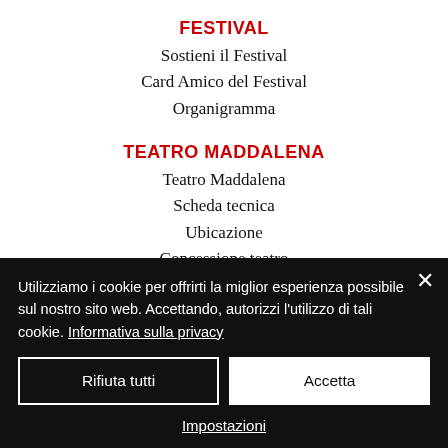FESTIVAL
Sostieni il Festival
Card Amico del Festival
Organigramma
TEATRO MADDALENA
Teatro Maddalena
Scheda tecnica
Ubicazione
Concessione teatro
Form richiesta
AZIONI SPECIFICHE
Coreografi residenti
Triennio 2018-2020
Utilizziamo i cookie per offrirti la miglior esperienza possibile sul nostro sito web. Accettando, autorizzi l'utilizzo di tali cookie. Informativa sulla privacy
Rifiuta tutti
Accetta
Impostazioni